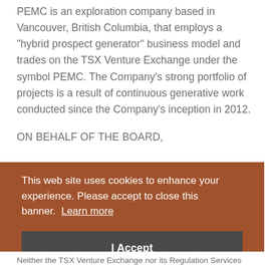PEMC is an exploration company based in Vancouver, British Columbia, that employs a "hybrid prospect generator" business model and trades on the TSX Venture Exchange under the symbol PEMC. The Company's strong portfolio of projects is a result of continuous generative work conducted since the Company's inception in 2012.
ON BEHALF OF THE BOARD,
This web site uses cookies to enhance your experience. Please accept to close this banner. Learn more
I Accept
Neither the TSX Venture Exchange nor its Regulation Services